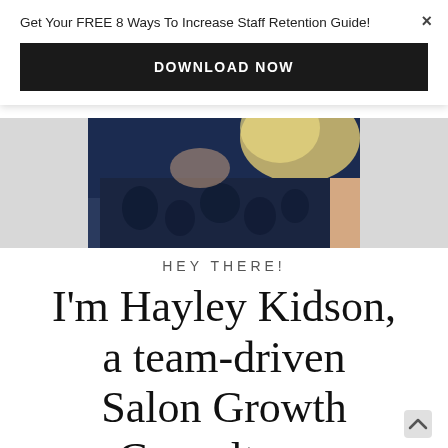Get Your FREE 8 Ways To Increase Staff Retention Guide!
DOWNLOAD NOW
[Figure (photo): Partial photo of a woman with blonde hair wearing a dark blue patterned top, cropped to show shoulders and hair from below]
HEY THERE!
I'm Hayley Kidson, a team-driven Salon Growth Consultant